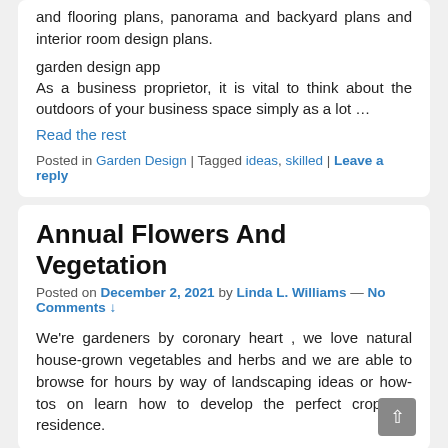and flooring plans, panorama and backyard plans and interior room design plans.
garden design app
As a business proprietor, it is vital to think about the outdoors of your business space simply as a lot …
Read the rest
Posted in Garden Design | Tagged ideas, skilled | Leave a reply
Annual Flowers And Vegetation
Posted on December 2, 2021 by Linda L. Williams — No Comments ↓
We're gardeners by coronary heart , we love natural house-grown vegetables and herbs and we are able to browse for hours by way of landscaping ideas or how-tos on learn how to develop the perfect crops at residence.